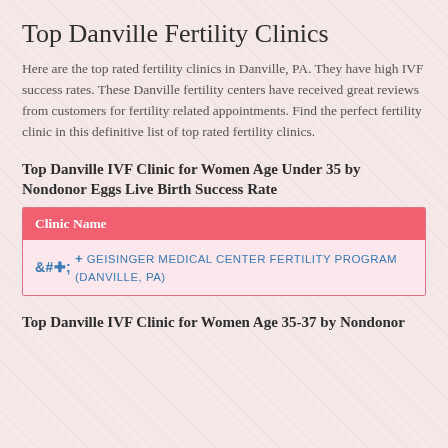Top Danville Fertility Clinics
Here are the top rated fertility clinics in Danville, PA. They have high IVF success rates. These Danville fertility centers have received great reviews from customers for fertility related appointments. Find the perfect fertility clinic in this definitive list of top rated fertility clinics.
Top Danville IVF Clinic for Women Age Under 35 by Nondonor Eggs Live Birth Success Rate
| Clinic Name |
| --- |
| + GEISINGER MEDICAL CENTER FERTILITY PROGRAM (DANVILLE, PA) |
Top Danville IVF Clinic for Women Age 35-37 by Nondonor